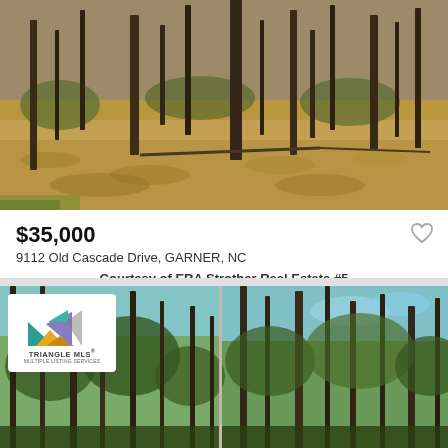[Figure (photo): Wooded lot with bare trees, fallen leaves covering the ground, sparse undergrowth — top photo]
$35,000
9112 Old Cascade Drive, GARNER, NC
Courtesy of ERA Strother Real Estate #5
[Figure (photo): Two-panel bottom photo of wooded lot showing tall pine and deciduous trees with glimpses of blue sky — Triangle MLS logo overlay on left panel]
[Figure (logo): Triangle MLS Multiple Listing Services logo with geometric triangle shapes in teal, purple, orange, and gold]